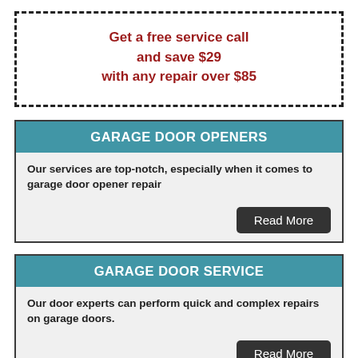Get a free service call
and save $29
with any repair over $85
GARAGE DOOR OPENERS
Our services are top-notch, especially when it comes to garage door opener repair
Read More
GARAGE DOOR SERVICE
Our door experts can perform quick and complex repairs on garage doors.
Read More